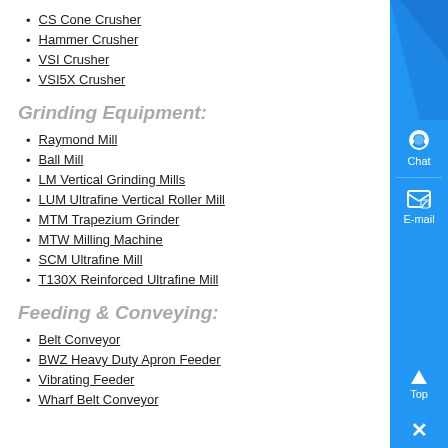CS Cone Crusher
Hammer Crusher
VSI Crusher
VSI5X Crusher
Grinding Equipment:
Raymond Mill
Ball Mill
LM Vertical Grinding Mills
LUM Ultrafine Vertical Roller Mill
MTM Trapezium Grinder
MTW Milling Machine
SCM Ultrafine Mill
T130X Reinforced Ultrafine Mill
Feeding & Conveying:
Belt Conveyor
BWZ Heavy Duty Apron Feeder
Vibrating Feeder
Wharf Belt Conveyor